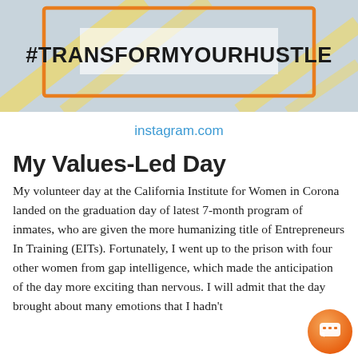[Figure (illustration): Social media image with orange border frame on light blue/grey background with diagonal yellow lines, containing bold black text #TRANSFORMYOURHUSTLE in the center]
instagram.com
My Values-Led Day
My volunteer day at the California Institute for Women in Corona landed on the graduation day of latest 7-month program of inmates, who are given the more humanizing title of Entrepreneurs In Training (EITs). Fortunately, I went up to the prison with four other women from gap intelligence, which made the anticipation of the day more exciting than nervous. I will admit that the day brought about many emotions that I hadn't